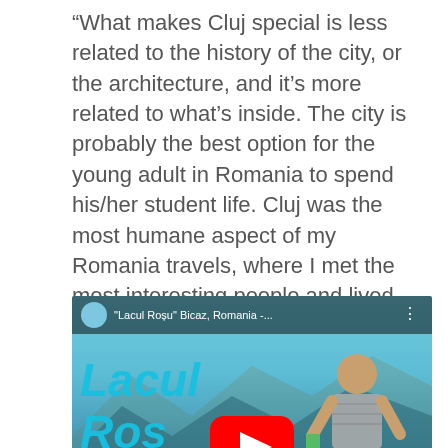“What makes Cluj special is less related to the history of the city, or the architecture, and it’s more related to what’s inside. The city is probably the best option for the young adult in Romania to spend his/her student life. Cluj was the most humane aspect of my Romania travels, where I met the most interesting people and lived the best experiences on a human level.”
[Figure (screenshot): YouTube video thumbnail for 'Lacul Rosu' Bicaz, Romania showing a young man outdoors with mountain lake scenery and the YouTube play button overlay.]